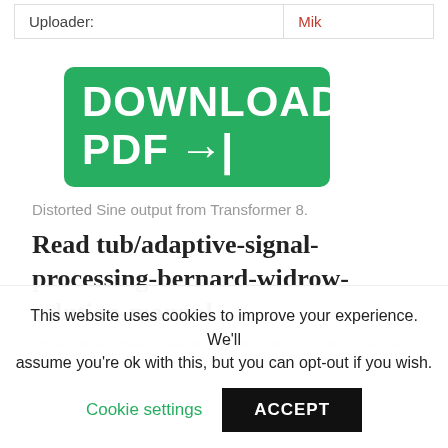| Uploader: | Mik |
| --- | --- |
[Figure (other): Green download PDF button with arrow icon]
Distorted Sine output from Transformer 8.
Read tub/adaptive-signal-processing-bernard-widrow-solution-manual
This website uses cookies to improve your experience. We'll assume you're ok with this, but you can opt-out if you wish.
Cookie settings   ACCEPT